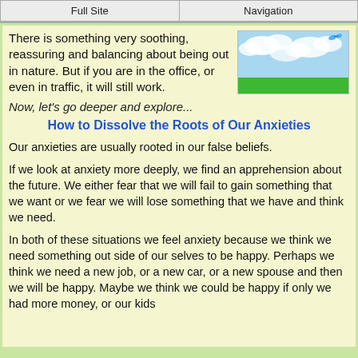Full Site | Navigation
There is something very soothing, reassuring and balancing about being out in nature. But if you are in the office, or even in traffic, it will still work.
[Figure (illustration): A nature scene illustration showing blue sky with clouds and green grass at the bottom, with a small blue butterfly visible.]
Now, let's go deeper and explore...
How to Dissolve the Roots of Our Anxieties
Our anxieties are usually rooted in our false beliefs.
If we look at anxiety more deeply, we find an apprehension about the future. We either fear that we will fail to gain something that we want or we fear we will lose something that we have and think we need.
In both of these situations we feel anxiety because we think we need something out side of our selves to be happy. Perhaps we think we need a new job, or a new car, or a new spouse and then we will be happy. Maybe we think we could be happy if only we had more money, or our kids could be more responsible, or our boss was more reasonable.